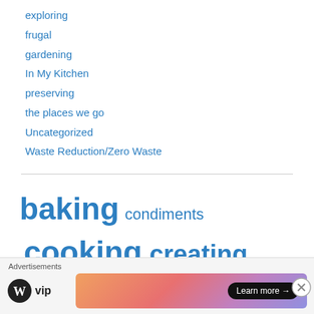exploring
frugal
gardening
In My Kitchen
preserving
the places we go
Uncategorized
Waste Reduction/Zero Waste
[Figure (other): Tag cloud with links: baking (large), condiments (small), cooking (largest), creating with children (large), drinks (small), exploring (medium), frugal (large), In My Kitchen (partial, large), the places we (partial, large)]
Advertisements
[Figure (logo): WordPress VIP logo with WP circle icon]